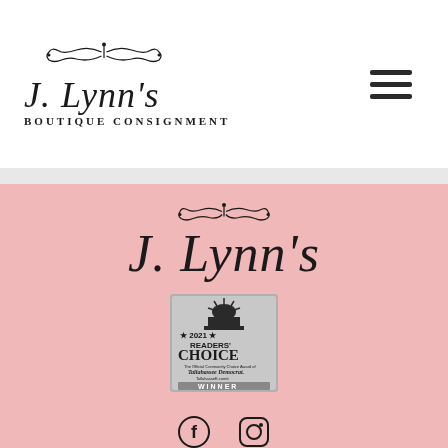[Figure (logo): J. Lynn's Boutique Consignment logo with decorative flourish in header]
[Figure (logo): Hamburger menu icon (three horizontal lines)]
[Figure (logo): J. Lynn's script logo with decorative flourish on pink background]
[Figure (logo): 2021 Readers' Choice Winner badge - Tallahassee Democrat]
[Figure (logo): Social media icons: Facebook and Instagram]